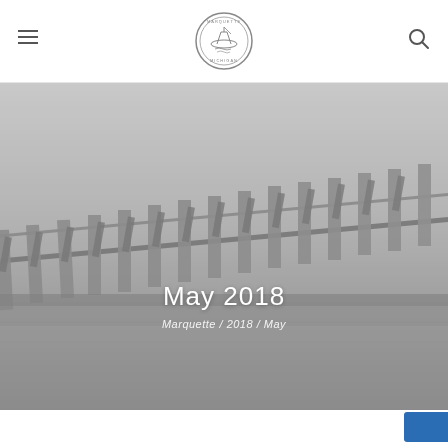Marquette — site header with hamburger menu, city seal logo, and search icon
[Figure (photo): Grayscale photograph of an industrial dock/loading structure (iron ore dock) extending over water, viewed at an angle, with structural columns and loading chutes visible against an overcast sky.]
May 2018
Marquette / 2018 / May